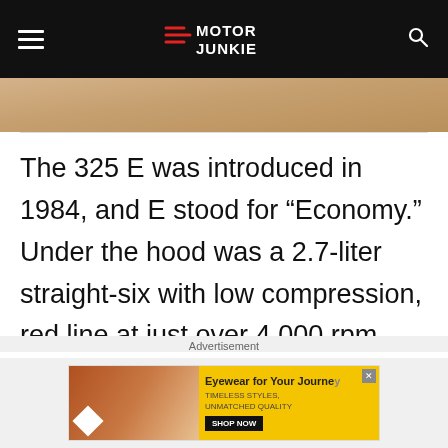Motor Junkie
[Figure (photo): Partial image of a person visible at the top of the article]
The 325 E was introduced in 1984, and E stood for “Economy.” Under the hood was a 2.7-liter straight-six with low compression, red line at just over 4,000 rpm, and just 120 hp. The car was pretty disappointing since it didn’t have any of the straight-six
Advertisement
[Figure (infographic): Advertisement banner: Eyewear for Your Journey - Timeless Styles, Unmatched Quality - Shop Now]